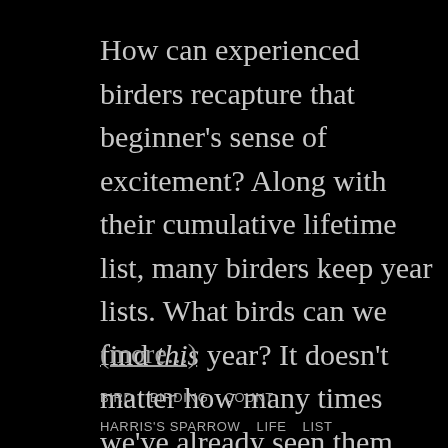How can experienced birders recapture that beginner's sense of excitement? Along with their cumulative lifetime list, many birders keep year lists. What birds can we find this year? It doesn't matter how many times we've already seen them, it's fun to start over.
(more...)
BIRD   BIRDING   COUNT
HARRIS'S SPARROW   LIFE   LIST
PINE WARBLER   WINTER WREN   YEAR